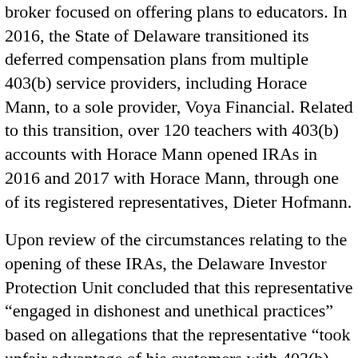broker focused on offering plans to educators. In 2016, the State of Delaware transitioned its deferred compensation plans from multiple 403(b) service providers, including Horace Mann, to a sole provider, Voya Financial. Related to this transition, over 120 teachers with 403(b) accounts with Horace Mann opened IRAs in 2016 and 2017 with Horace Mann, through one of its registered representatives, Dieter Hofmann.
Upon review of the circumstances relating to the opening of these IRAs, the Delaware Investor Protection Unit concluded that this representative “engaged in dishonest and unethical practices” based on allegations that the representative “took unfair advantage of his customers with 403(b) accounts who were confused about the transition to Voya by providing them with inadequate or inaccurate information which was misleading”.
Horace Mann and the individual broker settled the Delaware claim by each paying a $250,000 fine and undertaking a variety of additional corrective actions.